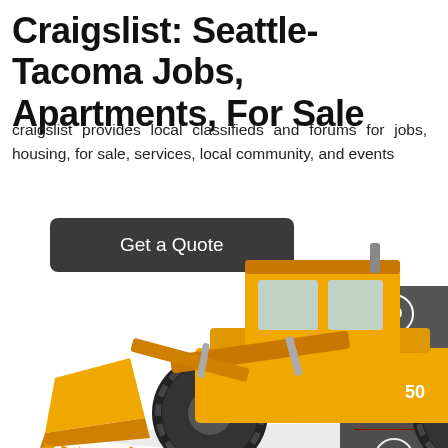Craigslist: Seattle-Tacoma Jobs, Apartments, For Sale
craigslist provides local classifieds and forums for jobs, housing, for sale, services, local community, and events
Get a Quote
[Figure (screenshot): Yellow construction front loader / wheel loader with bucket raised, positioned in lower portion of the page]
[Figure (infographic): Dark gray sidebar panel on the right with three contact options: Chat (headset icon), Email (envelope icon), Contact (speech bubble icon), separated by red dividers]